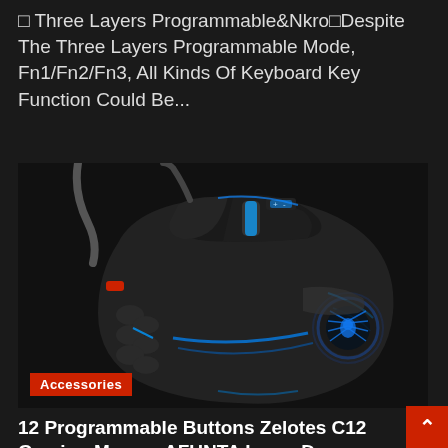Three Layers Programmable&Nkro Despite The Three Layers Programmable Mode, Fn1/Fn2/Fn3, All Kinds Of Keyboard Key Function Could Be...
Read More
[Figure (photo): Gaming mouse (Zelotes C12) with blue LED lighting, multiple programmable side buttons, red DPI button, and a glowing spider logo on the side. Black wired gaming mouse on dark background.]
Accessories
12 Programmable Buttons Zelotes C12 Gaming Mouse, AFUNTA Laser Dou
admin   March 31, 2022